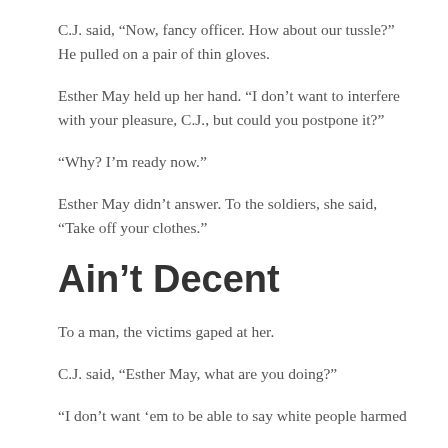C.J. said, “Now, fancy officer. How about our tussle?” He pulled on a pair of thin gloves.
Esther May held up her hand. “I don’t want to interfere with your pleasure, C.J., but could you postpone it?”
“Why? I’m ready now.”
Esther May didn’t answer. To the soldiers, she said, “Take off your clothes.”
Ain’t Decent
To a man, the victims gaped at her.
C.J. said, “Esther May, what are you doing?”
“I don’t want ’em to be able to say white people harmed